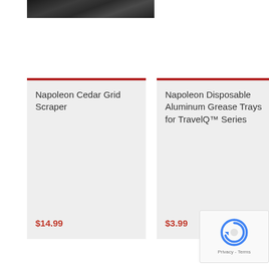[Figure (photo): Partial top image showing a dark/black product (grill or BBQ accessory)]
Napoleon Cedar Grid Scraper
$14.99
Napoleon Disposable Aluminum Grease Trays for TravelQ™ Series
$3.99
[Figure (other): reCAPTCHA widget with circular arrow icon and Privacy - Terms text]